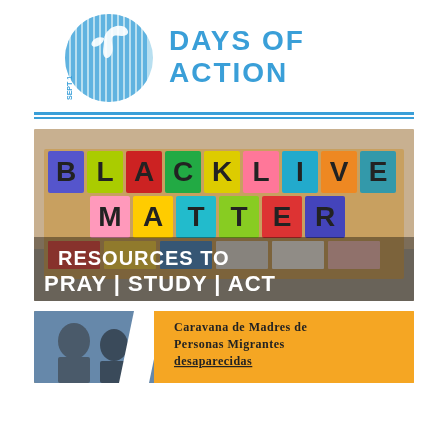[Figure (logo): Days of Action logo with circular globe graphic and text 'DAYS OF ACTION' in teal/blue]
[Figure (photo): Photo of a Black Lives Matter sign made of colorful paper squares, with white text overlay reading 'RESOURCES TO PRAY | STUDY | ACT']
[Figure (infographic): Banner image for 'Caravana de Madres de Personas Migrantes Desaparecidas' with photos of people]